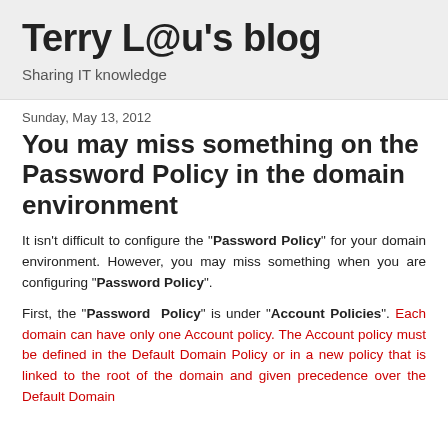Terry L@u's blog
Sharing IT knowledge
Sunday, May 13, 2012
You may miss something on the Password Policy in the domain environment
It isn't difficult to configure the "Password Policy" for your domain environment. However, you may miss something when you are configuring "Password Policy".
First, the "Password Policy" is under "Account Policies". Each domain can have only one Account policy. The Account policy must be defined in the Default Domain Policy or in a new policy that is linked to the root of the domain and given precedence over the Default Domain